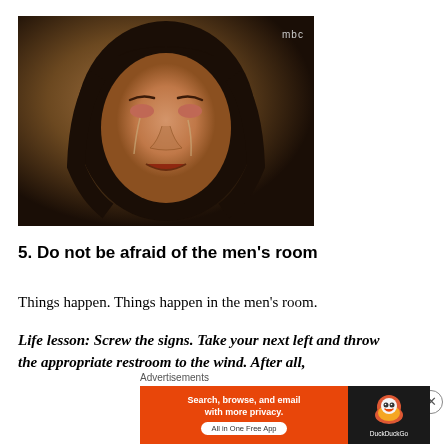[Figure (screenshot): Screenshot from MBC Korean TV drama showing a woman crying, with MBC logo in top right corner of the video frame.]
5. Do not be afraid of the men’s room
Things happen. Things happen in the men’s room.
Life lesson: Screw the signs. Take your next left and throw the appropriate restroom to the wind. After all,
[Figure (screenshot): DuckDuckGo advertisement banner: orange left panel with text 'Search, browse, and email with more privacy. All in One Free App', and dark right panel with DuckDuckGo duck logo and DuckDuckGo text. Labeled 'Advertisements' above.]